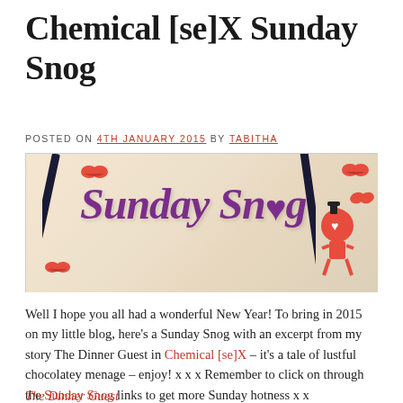Chemical [se]X Sunday Snog
POSTED ON 4TH JANUARY 2015 BY TABITHA
[Figure (illustration): Sunday Snog banner image with purple cursive text 'Sunday Snog', two fountain pens, red lip marks, and a cartoon heart character on a light beige background]
Well I hope you all had a wonderful New Year! To bring in 2015 on my little blog, here's a Sunday Snog with an excerpt from my story The Dinner Guest in Chemical [se]X – it's a tale of lustful chocolatey menage – enjoy! x x x Remember to click on through the Sunday Snog links to get more Sunday hotness x x
The Dinner Guest